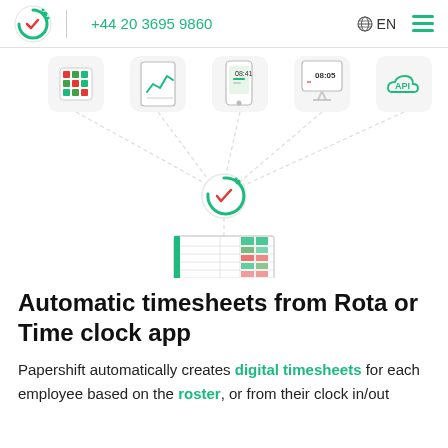+44 20 3695 9860  EN
[Figure (infographic): Infographic showing five icons (grid/spreadsheet, chart/tablet, mobile app, desktop clock showing 08:05, API cloud) at top connected by dashed lines converging to a central Papershift logo (green circle with checkmark), which connects downward to a timesheet spreadsheet illustration with green and red colored cells.]
Automatic timesheets from Rota or Time clock app
Papershift automatically creates digital timesheets for each employee based on the roster, or from their clock in/out